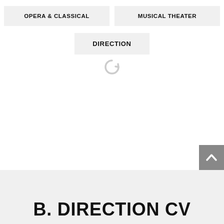OPERA & CLASSICAL
MUSICAL THEATER
DIRECTION
[Figure (other): Loading spinner icon in light gray]
[Figure (other): Scroll-to-top button with upward chevron arrow, gray background]
B. DIRECTION CV